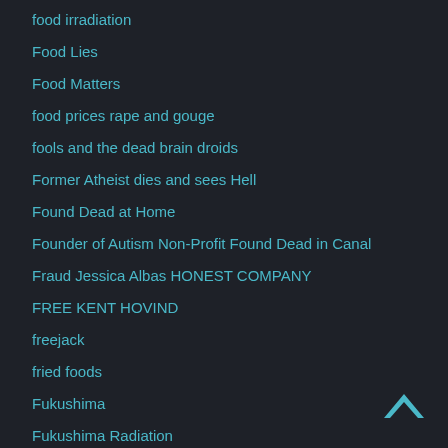food irradiation
Food Lies
Food Matters
food prices rape and gouge
fools and the dead brain droids
Former Atheist dies and sees Hell
Found Dead at Home
Founder of Autism Non-Profit Found Dead in Canal
Fraud Jessica Albas HONEST COMPANY
FREE KENT HOVIND
freejack
fried foods
Fukushima
Fukushima Radiation
Fukushima Reactor Begins Falling Into Ocean